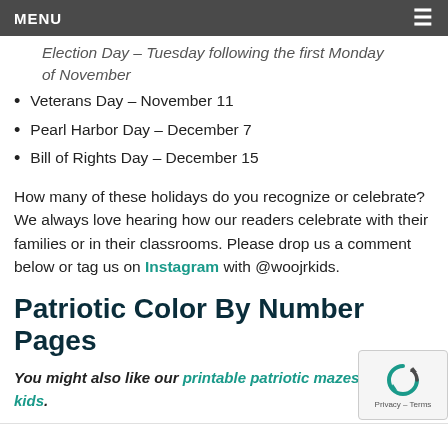MENU
Election Day – Tuesday following the first Monday of November
Veterans Day – November 11
Pearl Harbor Day – December 7
Bill of Rights Day – December 15
How many of these holidays do you recognize or celebrate? We always love hearing how our readers celebrate with their families or in their classrooms. Please drop us a comment below or tag us on Instagram with @woojrkids.
Patriotic Color By Number Pages
You might also like our printable patriotic mazes for kids.